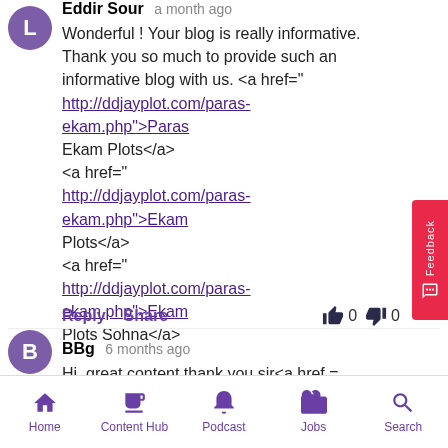Eddir Sour · a month ago
Wonderful ! Your blog is really informative. Thank you so much to provide such an informative blog with us. <a href="http://ddjayplot.com/paras-ekam.php">Paras Ekam Plots</a> <a href="http://ddjayplot.com/paras-ekam.php">Ekam Plots</a> <a href="http://ddjayplot.com/paras-ekam.php">Ekam Plots Sohna</a>
Reply  Share   👍 0  👎 0
BBg · 6 months ago
Hi, great content thank you sir<a href = "
Home  Content Hub  Podcast  Jobs  Search